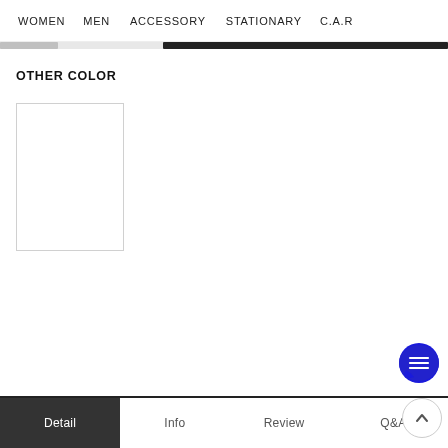WOMEN    MEN    ACCESSORY    STATIONARY    C.A.R
OTHER COLOR
[Figure (photo): Product image placeholder — white/blank rectangular card with light border]
Detail    Info    Review    Q&A